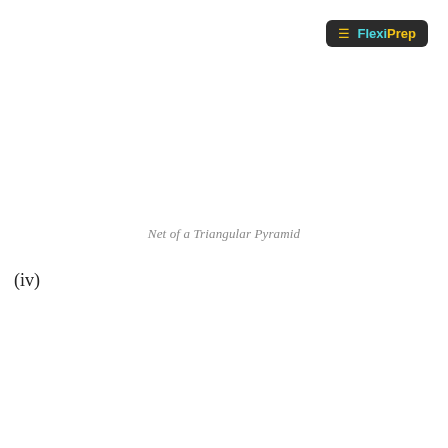FlexiPrep
Net of a Triangular Pyramid
(iv)